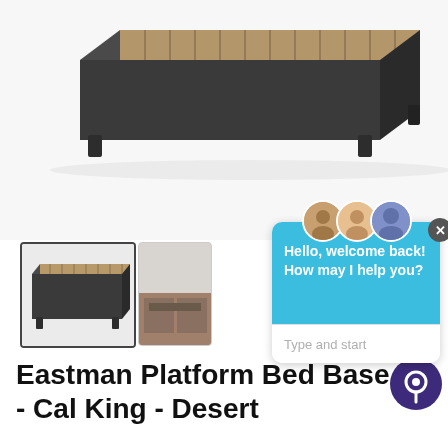[Figure (photo): Platform bed base with dark gray upholstery and wooden slats, photographed from above-angle on white background]
[Figure (screenshot): Live chat widget overlay with three agent avatars, blue header with greeting text 'Hello, welcome back! How may I help you?', close button, and text input area with placeholder 'Type and start']
[Figure (photo): Thumbnail image of platform bed base from side angle]
[Figure (photo): Second thumbnail showing bed in room setting]
Eastman Platform Bed Base - Cal King - Desert